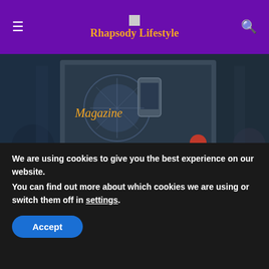Rhapsody Lifestyle
[Figure (photo): A presenter in a red jacket stands on a stage in front of a large screen displaying a mobile app interface. Audience members are visible in the foreground, one using a camera. The word 'Magazine' appears overlaid in orange text.]
With their joint mobility services, the BMW Group and Daimler AG are responding to mobility needs of today and
We are using cookies to give you the best experience on our website.
You can find out more about which cookies we are using or switch them off in settings.
Accept